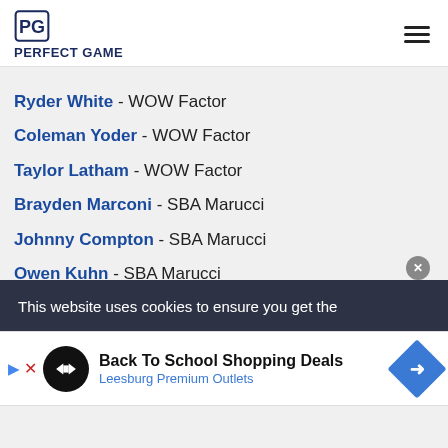PERFECT GAME
Ryder White - WOW Factor
Coleman Yoder - WOW Factor
Taylor Latham - WOW Factor
Brayden Marconi - SBA Marucci
Johnny Compton - SBA Marucci
Owen Kuhn - SBA Marucci
Lane Haney - Dingers
This website uses cookies to ensure you get the
Back To School Shopping Deals Leesburg Premium Outlets